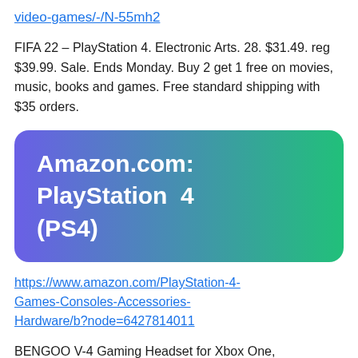video-games/-/N-55mh2
FIFA 22 – PlayStation 4. Electronic Arts. 28. $31.49. reg $39.99. Sale. Ends Monday. Buy 2 get 1 free on movies, music, books and games. Free standard shipping with $35 orders.
[Figure (other): Green to purple gradient banner with white bold text reading 'Amazon.com: PlayStation 4 (PS4)']
https://www.amazon.com/PlayStation-4-Games-Consoles-Accessories-Hardware/b?node=6427814011
BENGOO V-4 Gaming Headset for Xbox One, PS4, PC, Controller, Noise Cancelling Over Ear